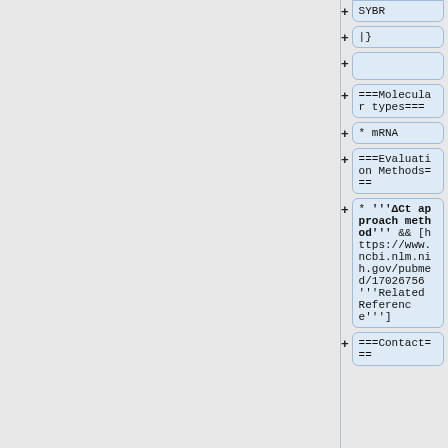SYBR
|}
===Molecular types===
* mRNA
===Evaluation Methods===
* '''ΔCt approach method''' && [https://www.ncbi.nlm.nih.gov/pubmed/17026756 '''Related Reference''']
===Contact===